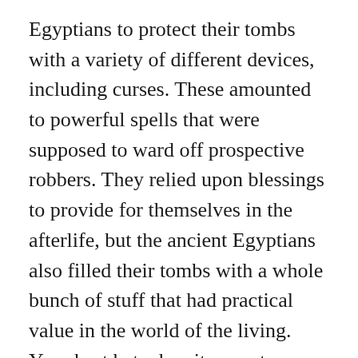Egyptians to protect their tombs with a variety of different devices, including curses. These amounted to powerful spells that were supposed to ward off prospective robbers. They relied upon blessings to provide for themselves in the afterlife, but the ancient Egyptians also filled their tombs with a whole bunch of stuff that had practical value in the world of the living. Your best bet when it came to covering yourself was to create a curse that would punish your burglars with a lifetime of suffering followed by eternal damnation. “As for any impure person who enters my tomb, an end will be made for them. I will seize their neck like a bird and cast the fear of myself into them,” Ikhekhi said in Saqqara. While they’re most commonly found on the walls of tombs dating to earlier periods,